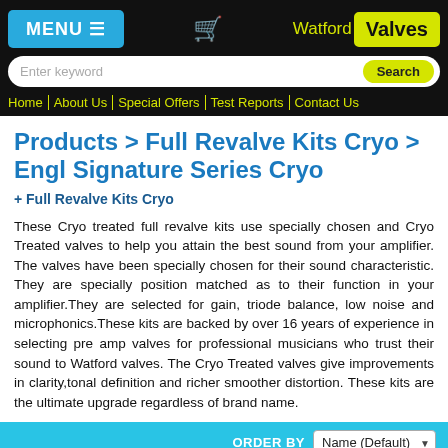MENU | Cart | Watford Valves
Search bar
Home | About Us | Special Offers | Test Reports | Contact Us
Products > Full Revalve Kits Cryo > Engl Signature Series Cryo
+ Full Revalve Kits Cryo
These Cryo treated full revalve kits use specially chosen and Cryo Treated valves to help you attain the best sound from your amplifier. The valves have been specially chosen for their sound characteristic. They are specially position matched as to their function in your amplifier.They are selected for gain, triode balance, low noise and microphonics.These kits are backed by over 16 years of experience in selecting pre amp valves for professional musicians who trust their sound to Watford valves. The Cryo Treated valves give improvements in clarity,tonal definition and richer smoother distortion. These kits are the ultimate upgrade regardless of brand name.
ORDER BY Name (Default)